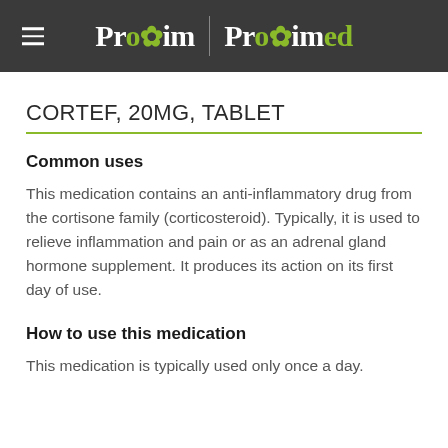Proxim | Proximed
CORTEF, 20MG, TABLET
Common uses
This medication contains an anti-inflammatory drug from the cortisone family (corticosteroid). Typically, it is used to relieve inflammation and pain or as an adrenal gland hormone supplement. It produces its action on its first day of use.
How to use this medication
This medication is typically used only once a day.